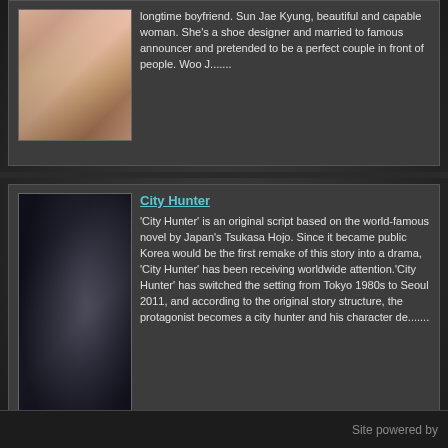[Figure (photo): Korean drama poster for first show (partially visible at top)]
longtime boyfriend. Sun Jae Kyung, beautiful and capable woman. She's a shoe designer and married to famous announcer and pretended to be a perfect couple in front of people. Woo J.......
[Figure (photo): City Hunter Korean drama poster showing two actors, a man and woman in dark clothing with city background and Korean title 시티헌터 (City Hunter)]
City Hunter
'City Hunter' is an original script based on the world-famous novel by Japan's Tsukasa Hojo. Since it became public Korea would be the first remake of this story into a drama, 'City Hunter' has been receiving worldwide attention.'City Hunter' has switched the setting from Tokyo 1980s to Seoul 2011, and according to the original story structure, the protagonist becomes a city hunter and his character de......
Site powered by